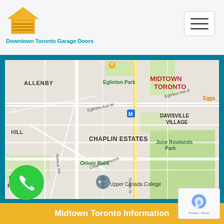[Figure (logo): Downtown Toronto Garage Doors logo - orange house/garage icon with teal text]
[Figure (map): Google Maps showing Midtown Toronto area with neighbourhoods: Allenby, Eglinton Park, Midtown Toronto, Davisville Village, Hill, Chaplin Estates, June Rowlands Park, Forest Hill South, Oriole Park, Upper Canada College. Streets visible: Eglinton Ave E, Eglinton Ave W, Avenue Rd, Chaplin Crescent, Yonge St. Metro station marker shown.]
[Figure (other): Green circular phone/call button in bottom left]
[Figure (other): Google reCAPTCHA badge in bottom right corner showing privacy and terms links]
Midtown Toronto Information